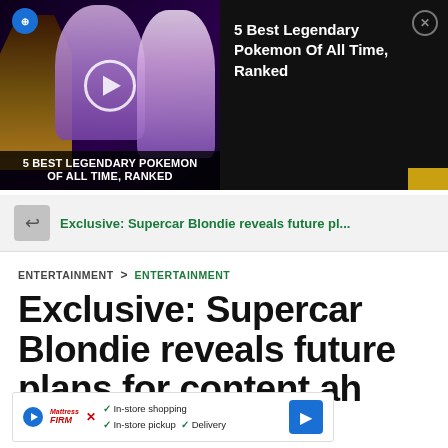[Figure (screenshot): Video thumbnail ad: 5 Best Legendary Pokemon Of All Time, Ranked. Dark background with Pokemon characters on left side, play button overlay, channel icon, and video title text at bottom. Right side shows text title and close button.]
Exclusive: Supercar Blondie reveals future pl...
ENTERTAINMENT > ENTERTAINMENT
Exclusive: Supercar Blondie reveals future plans for content ah
[Figure (screenshot): Bottom ad overlay: Mattress Firm advertisement showing In-store shopping, In-store pickup, Delivery checkmarks with blue diamond direction arrow icon.]